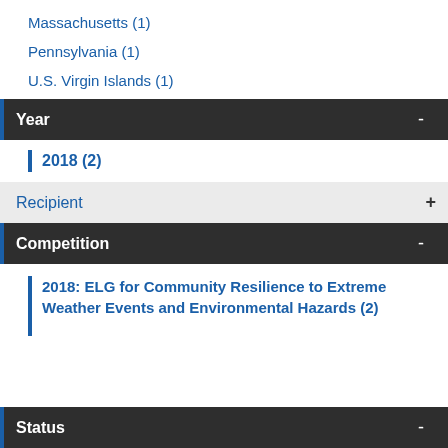Massachusetts (1)
Pennsylvania (1)
U.S. Virgin Islands (1)
Year -
2018 (2)
Recipient +
Competition -
2018: ELG for Community Resilience to Extreme Weather Events and Environmental Hazards (2)
Status -